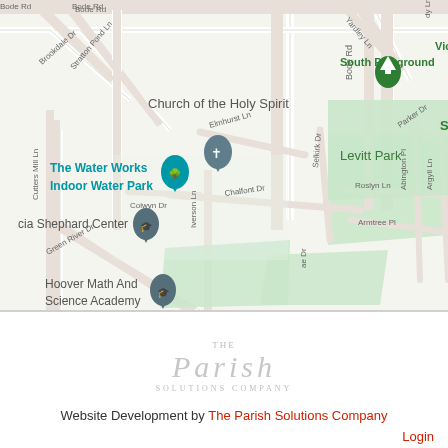[Figure (map): Google Maps screenshot showing Victoria Park South Playground, Levitt Park, Church of the Holy Spirit, The Water Works Indoor Water Park, cia Shephard Center, Hoover Math And Science Academy, with roads including Bode Rd, Elmhurst Ln, Chalfont Dr, Colwyn Dr, Iverson Ln, Selkirk Dr, Armtree Pl, Roslyn Ln, Parker Dr, Abington Pl, Argyll Ln, Green River Dr, Brookdale Dr, Stratton Pond Ln, Cutters Mill Ln, Yardley Ln]
[Figure (logo): The Parish Solutions Company logo — stylized serif text]
Website Development by The Parish Solutions Company
Login